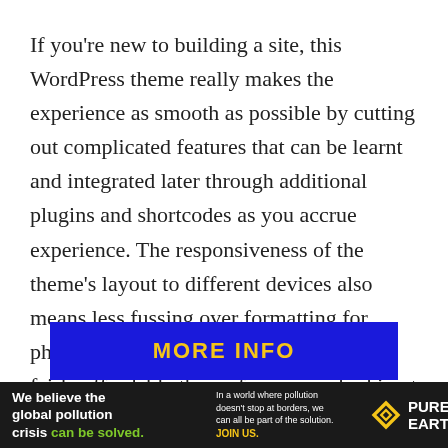If you're new to building a site, this WordPress theme really makes the experience as smooth as possible by cutting out complicated features that can be learnt and integrated later through additional plugins and shortcodes as you accrue experience. The responsiveness of the theme's layout to different devices also means less fussing over formatting for phones and tablets. All in all, Gamiz is a fairly affordable theme for anyone looking to get started on building a game site from scratch!
[Figure (other): Blue banner with yellow text reading MORE INFO]
[Figure (other): Advertisement bar: Pure Earth. Text: We believe the global pollution crisis can be solved. In a world where pollution doesn't stop at borders, we can all be part of the solution. JOIN US.]